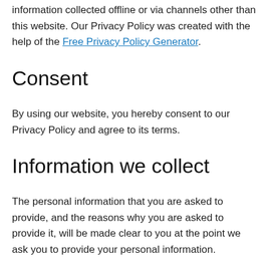information collected offline or via channels other than this website. Our Privacy Policy was created with the help of the Free Privacy Policy Generator.
Consent
By using our website, you hereby consent to our Privacy Policy and agree to its terms.
Information we collect
The personal information that you are asked to provide, and the reasons why you are asked to provide it, will be made clear to you at the point we ask you to provide your personal information.
If you contact us directly, we may receive additional information about you such as your name, email address, phone number, the contents of the message and/or attachments you may send us, and